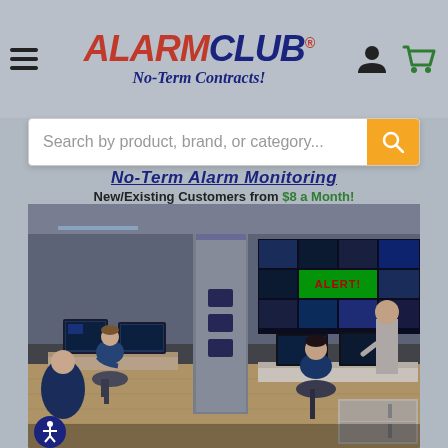ALARMCLUB® No-Term Contracts!
Search by product, brand, or category...
No-Term Alarm Monitoring
New/Existing Customers from $8 a Month!
[Figure (photo): Alarm monitoring center with operators at workstations, large video wall with ALERT! displayed on screen, workers in blue uniforms monitoring multiple screens]